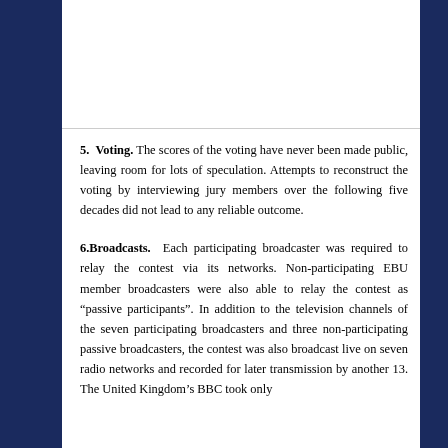5. Voting. The scores of the voting have never been made public, leaving room for lots of speculation. Attempts to reconstruct the voting by interviewing jury members over the following five decades did not lead to any reliable outcome.
6.Broadcasts. Each participating broadcaster was required to relay the contest via its networks. Non-participating EBU member broadcasters were also able to relay the contest as "passive participants". In addition to the television channels of the seven participating broadcasters and three non-participating passive broadcasters, the contest was also broadcast live on seven radio networks and recorded for later transmission by another 13. The United Kingdom's BBC took only